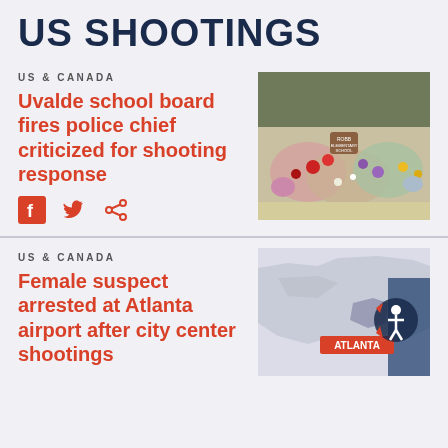US SHOOTINGS
US & CANADA
Uvalde school board fires police chief criticized for shooting response
[Figure (photo): Memorial with flowers and tributes outside Robb Elementary School in Uvalde]
US & CANADA
Female suspect arrested at Atlanta airport after city center shootings
[Figure (map): Map showing Atlanta location with shooter icon graphic]